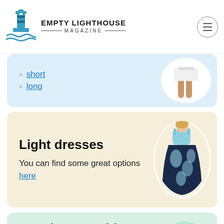Empty Lighthouse Magazine
short
long
Light dresses
You can find some great options here
[Figure (photo): Woman in floral maxi dress]
Beach necessities
If you're going to the beach:
[Figure (photo): Black waterproof phone case with yellow lanyard strap]